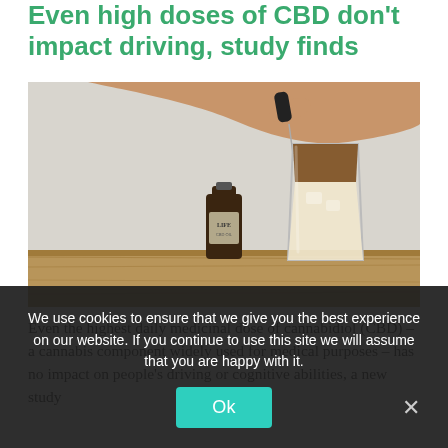Even high doses of CBD don't impact driving, study finds
[Figure (photo): A hand holding a dropper over a glass of iced coffee (layered light and dark liquid), with a small dark glass bottle labeled 'LIFE' on a wooden surface in front of a white wall.]
Even the highest daily medicinal dose of cannabidiol (CBD) – a cannabis component widely used for medical purposes – has no impact on people's driving or cognitive abilities, a new study
We use cookies to ensure that we give you the best experience on our website. If you continue to use this site we will assume that you are happy with it.